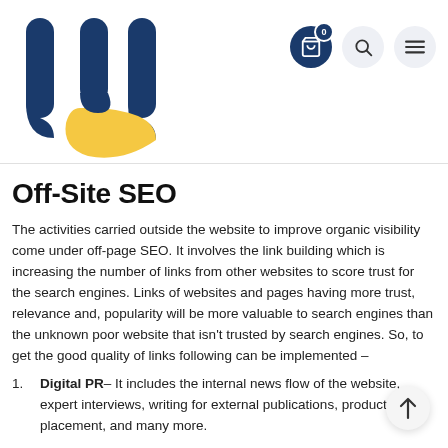[Figure (logo): Abstract logo with dark blue letter-like shapes and a yellow teardrop/arc shape forming a stylized 'b' or combined letter mark]
Off-Site SEO
The activities carried outside the website to improve organic visibility come under off-page SEO. It involves the link building which is increasing the number of links from other websites to score trust for the search engines. Links of websites and pages having more trust, relevance and, popularity will be more valuable to search engines than the unknown poor website that isn't trusted by search engines. So, to get the good quality of links following can be implemented –
Digital PR– It includes the internal news flow of the website, expert interviews, writing for external publications, product placement, and many more.